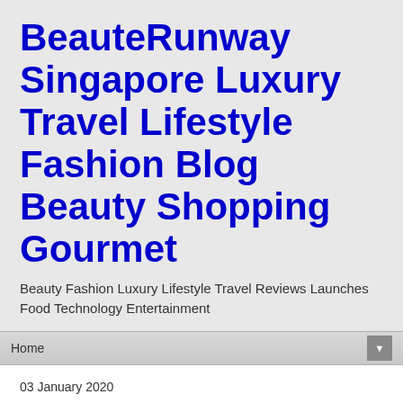BeauteRunway Singapore Luxury Travel Lifestyle Fashion Blog Beauty Shopping Gourmet
Beauty Fashion Luxury Lifestyle Travel Reviews Launches Food Technology Entertainment
Home
03 January 2020
No Signboard Seafood Restaurant Esplanade Singapore New Revamped Menu
Singapore popular seafood restaurant No Signboard's White